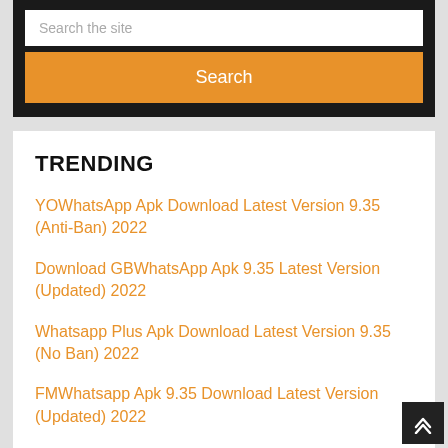[Figure (screenshot): Search box with placeholder text 'Search the site' and an orange 'Search' button below it, on a dark background]
TRENDING
YOWhatsApp Apk Download Latest Version 9.35 (Anti-Ban) 2022
Download GBWhatsApp Apk 9.35 Latest Version (Updated) 2022
Whatsapp Plus Apk Download Latest Version 9.35 (No Ban) 2022
FMWhatsapp Apk 9.35 Download Latest Version (Updated) 2022
NSWhatsapp 3D APK 9.35 Download